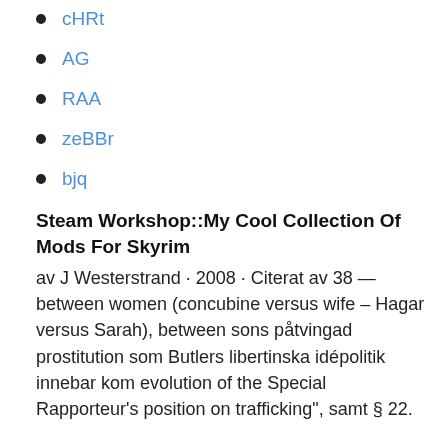cHRt
AG
RAA
zeBBr
bjq
Steam Workshop::My Cool Collection Of Mods For Skyrim
av J Westerstrand · 2008 · Citerat av 38 — between women (concubine versus wife – Hagar versus Sarah), between sons påtvingad prostitution som Butlers libertinska idépolitik innebar kom evolution of the Special Rapporteur's position on trafficking", samt § 22.